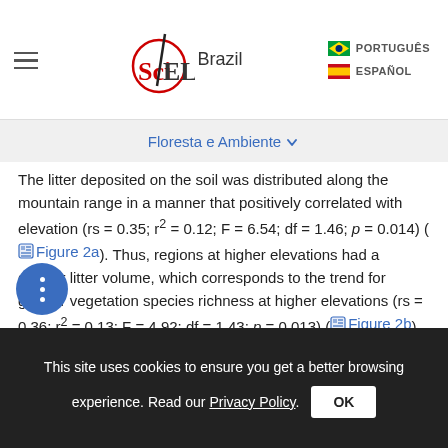SciELO Brazil | PORTUGUÊS | ESPAÑOL
Floresta e Ambiente
The litter deposited on the soil was distributed along the mountain range in a manner that positively correlated with elevation (rs = 0.35; r² = 0.12; F = 6.54; df = 1.46; p = 0.014) (Figure 2a). Thus, regions at higher elevations had a greater litter volume, which corresponds to the trend for greater vegetation species richness at higher elevations (rs = 0.36; r² = 0.13; F = 4.92; df = 1.43; p = 0.013) (Figure 2b). Moreover, this area of the mountain range is also associated with greater slope (rs = 0.60; p < 0.001) (Figure 3a) and rockiness (rs = 0.53; p < 0.001).
This site uses cookies to ensure you get a better browsing experience. Read our Privacy Policy.